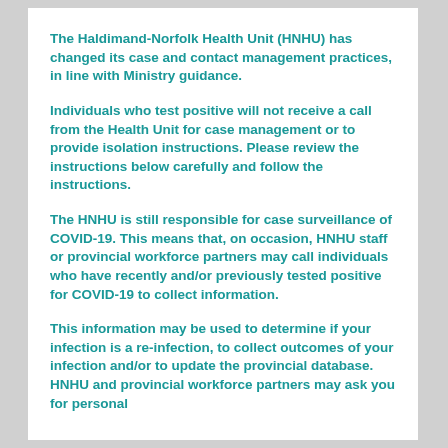The Haldimand-Norfolk Health Unit (HNHU) has changed its case and contact management practices, in line with Ministry guidance.
Individuals who test positive will not receive a call from the Health Unit for case management or to provide isolation instructions. Please review the instructions below carefully and follow the instructions.
The HNHU is still responsible for case surveillance of COVID-19. This means that, on occasion, HNHU staff or provincial workforce partners may call individuals who have recently and/or previously tested positive for COVID-19 to collect information.
This information may be used to determine if your infection is a re-infection, to collect outcomes of your infection and/or to update the provincial database. HNHU and provincial workforce partners may ask you for personal